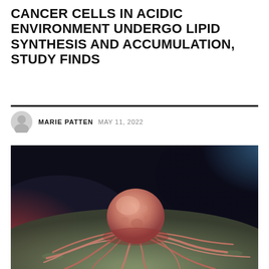CANCER CELLS IN ACIDIC ENVIRONMENT UNDERGO LIPID SYNTHESIS AND ACCUMULATION, STUDY FINDS
MARIE PATTEN  MAY 11, 2022
[Figure (photo): Scientific illustration of a cancer cell with tendrils/filaments extending outward on a textured surface, with pink and blue background lighting.]